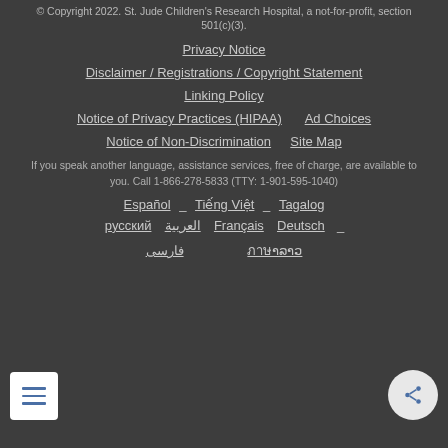© Copyright 2022. St. Jude Children's Research Hospital, a not-for-profit, section 501(c)(3).
Privacy Notice
Disclaimer / Registrations / Copyright Statement
Linking Policy
Notice of Privacy Practices (HIPAA)   Ad Choices
Notice of Non-Discrimination   Site Map
If you speak another language, assistance services, free of charge, are available to you. Call 1-866-278-5833 (TTY: 1-901-595-1040)
Español _ Tiếng Việt _ Tagalog
русский   العربية   Français   Deutsch   _
فارسی   ภาษาลาว